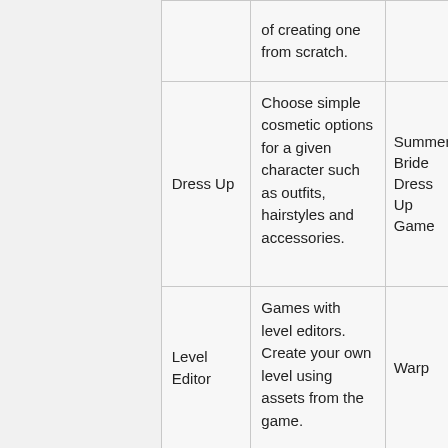|  |  | of creating one from scratch. |  |
|  | Dress Up | Choose simple cosmetic options for a given character such as outfits, hairstyles and accessories. | Summer Bride Dress Up Game |
|  | Level Editor | Games with level editors. Create your own level using assets from the game. | Warp |